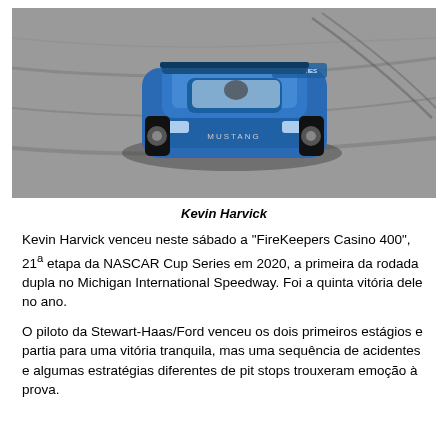[Figure (photo): Aerial/overhead view of Kevin Harvick's blue NASCAR Ford Mustang #4 with Busch Beer sponsorship on a racetrack.]
Kevin Harvick
Kevin Harvick venceu neste sábado a “FireKeepers Casino 400”, 21ª etapa da NASCAR Cup Series em 2020, a primeira da rodada dupla no Michigan International Speedway. Foi a quinta vitória dele no ano.
O piloto da Stewart-Haas/Ford venceu os dois primeiros estágios e partia para uma vitória tranquila, mas uma sequência de acidentes e algumas estratégias diferentes de pit stops trouxeram emoção à prova.